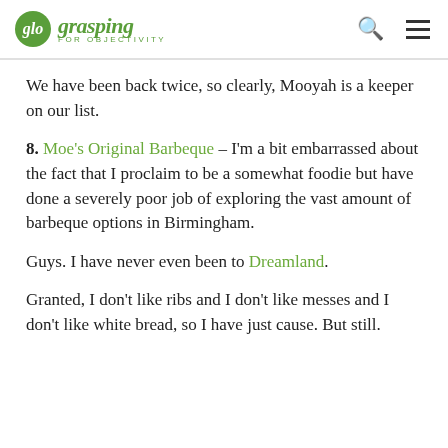glo grasping FOR OBJECTIVITY
We have been back twice, so clearly, Mooyah is a keeper on our list.
8. Moe's Original Barbeque – I'm a bit embarrassed about the fact that I proclaim to be a somewhat foodie but have done a severely poor job of exploring the vast amount of barbeque options in Birmingham.
Guys. I have never even been to Dreamland.
Granted, I don't like ribs and I don't like messes and I don't like white bread, so I have just cause. But still.